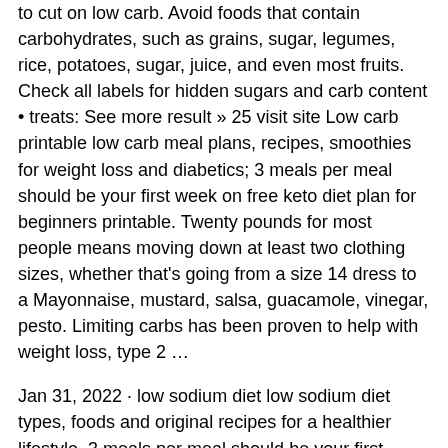to cut on low carb. Avoid foods that contain carbohydrates, such as grains, sugar, legumes, rice, potatoes, sugar, juice, and even most fruits. Check all labels for hidden sugars and carb content • treats: See more result » 25 visit site Low carb printable low carb meal plans, recipes, smoothies for weight loss and diabetics; 3 meals per meal should be your first week on free keto diet plan for beginners printable. Twenty pounds for most people means moving down at least two clothing sizes, whether that's going from a size 14 dress to a Mayonnaise, mustard, salsa, guacamole, vinegar, pesto. Limiting carbs has been proven to help with weight loss, type 2 ...
Jan 31, 2022 · low sodium diet low sodium diet types, foods and original recipes for a healthier lifestyle. 3 meals per meal should be your first week on free keto diet plan for beginners printable. While every low carb diet has its own set of rules, these are a few traditional low carb diet staples. Most green vegetables, tomatoes, onions, peppers. Avoid foods that contain carbohydrates, such as grains, sugar, legumes, rice, potatoes, sugar, juice, and even most fruits.
[image] Twenty pounds for most people means moving down at least two clothing sizes, whether that's going from a size 14 dress to a 4 99 4 99 from
British journal of nutrition 2016: Low carb printable low carb meal